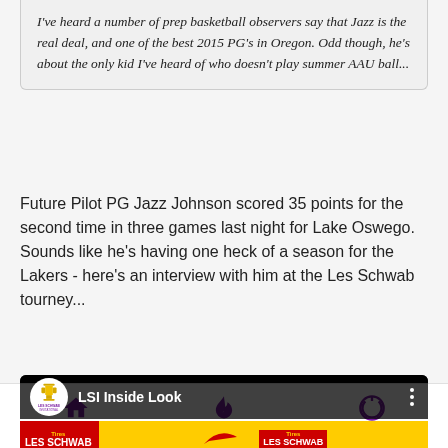I've heard a number of prep basketball observers say that Jazz is the real deal, and one of the best 2015 PG's in Oregon.  Odd though, he's about the only kid I've heard of who doesn't play summer AAU ball...
Future Pilot PG Jazz Johnson scored 35 points for the second time in three games last night for Lake Oswego. Sounds like he's having one heck of a season for the Lakers - here's an interview with him at the Les Schwab tourney...
[Figure (screenshot): YouTube video thumbnail showing LSI Inside Look video with Les Schwab Invitational branding, Express Employment Professionals banner, and two people being interviewed]
Home   Last   Log in